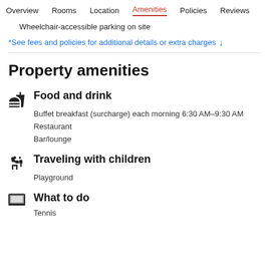Overview  Rooms  Location  Amenities  Policies  Reviews
Wheelchair-accessible parking on site
*See fees and policies for additional details or extra charges ↓
Property amenities
Food and drink
Buffet breakfast (surcharge) each morning 6:30 AM–9:30 AM
Restaurant
Bar/lounge
Traveling with children
Playground
What to do
Tennis